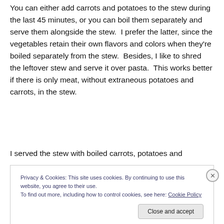You can either add carrots and potatoes to the stew during the last 45 minutes, or you can boil them separately and serve them alongside the stew.  I prefer the latter, since the vegetables retain their own flavors and colors when they're boiled separately from the stew.  Besides, I like to shred the leftover stew and serve it over pasta.  This works better if there is only meat, without extraneous potatoes and carrots, in the stew.
I served the stew with boiled carrots, potatoes and
Privacy & Cookies: This site uses cookies. By continuing to use this website, you agree to their use.
To find out more, including how to control cookies, see here: Cookie Policy